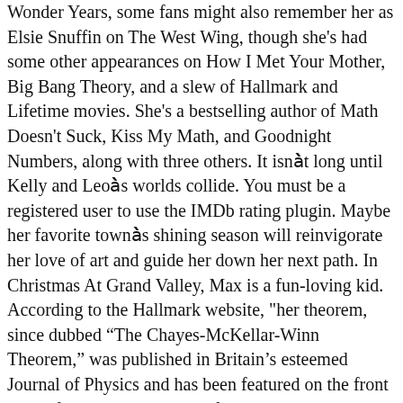Wonder Years, some fans might also remember her as Elsie Snuffin on The West Wing, though she's had some other appearances on How I Met Your Mother, Big Bang Theory, and a slew of Hallmark and Lifetime movies. She's a bestselling author of Math Doesn't Suck, Kiss My Math, and Goodnight Numbers, along with three others. It isn't long until Kelly and Leo's worlds collide. You must be a registered user to use the IMDb rating plugin. Maybe her favorite town's shining season will reinvigorate her love of art and guide her down her next path. In Christmas At Grand Valley, Max is a fun-loving kid. According to the Hallmark website, "her theorem, since dubbed “The Chayes-McKellar-Winn Theorem,” was published in Britain’s esteemed Journal of Physics and has been featured on the front page of the science section of The New York Times." Lizzie Richfield lands a job as house manager for the exquisite Ashford Estate in Virginia. Christmas at Grand Valley DPStream est le premier index de liens streaming pour ce qui est des films, des séries et des mangas. Anne seems to have it all as a driven toy buyer in New York City, but her father's retirement signaling the closing of the